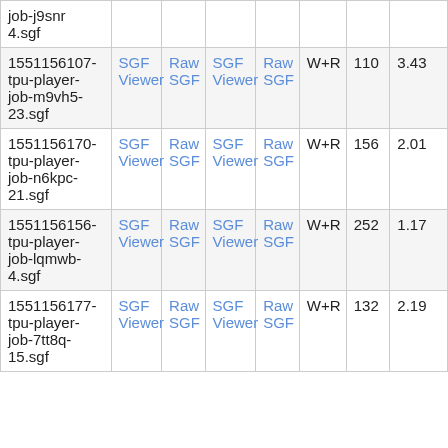| job-j9snr
4.sgf |  |  |  |  |  |  |  |
| 1551156107-tpu-player-job-m9vh5-23.sgf | SGF Viewer | Raw SGF | SGF Viewer | Raw SGF | W+R | 110 | 3.43 |
| 1551156170-tpu-player-job-n6kpc-21.sgf | SGF Viewer | Raw SGF | SGF Viewer | Raw SGF | W+R | 156 | 2.01 |
| 1551156156-tpu-player-job-lqmwb-4.sgf | SGF Viewer | Raw SGF | SGF Viewer | Raw SGF | W+R | 252 | 1.17 |
| 1551156177-tpu-player-job-7tt8q-15.sgf | SGF Viewer | Raw SGF | SGF Viewer | Raw SGF | W+R | 132 | 2.19 |